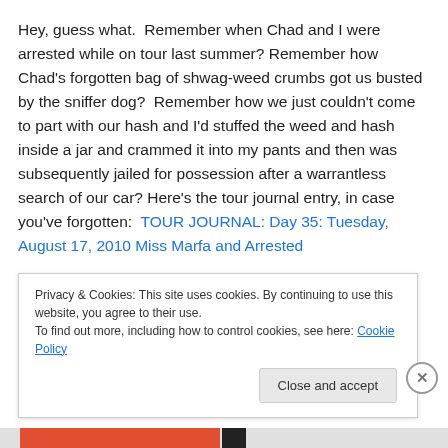Hey, guess what.  Remember when Chad and I were arrested while on tour last summer? Remember how Chad's forgotten bag of shwag-weed crumbs got us busted by the sniffer dog?  Remember how we just couldn't come to part with our hash and I'd stuffed the weed and hash inside a jar and crammed it into my pants and then was subsequently jailed for possession after a warrantless search of our car? Here's the tour journal entry, in case you've forgotten:  TOUR JOURNAL: Day 35: Tuesday, August 17, 2010 Miss Marfa and Arrested
Privacy & Cookies: This site uses cookies. By continuing to use this website, you agree to their use.
To find out more, including how to control cookies, see here: Cookie Policy
Close and accept